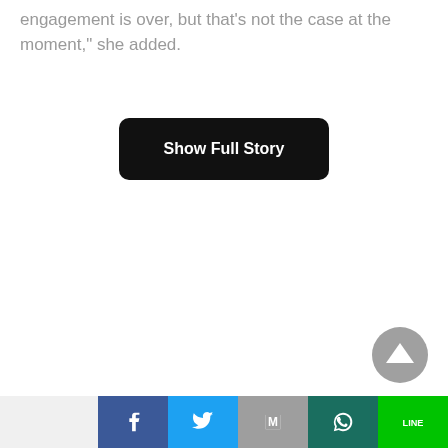engagement is over, but that's not the case at the moment," she added.
[Figure (other): Black rounded rectangle button with white bold text 'Show Full Story']
[Figure (other): Gray circular scroll-to-top button with upward triangle arrow]
[Figure (other): Social share bar with Facebook (dark blue), Twitter (light blue), Gmail (gray), WhatsApp (dark teal), and LINE (green) buttons]